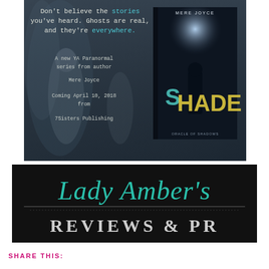[Figure (illustration): Book promotional image for 'Shade' by Mere Joyce, a YA Paranormal series from 7Sisters Publishing, coming April 10, 2018. Dark moody background with ghostly silhouette figures, featuring book cover image of 'Shade: Oracle of Shadows'. Text reads: Don't believe the stories you've heard. Ghosts are real, and they're everywhere. A new YA Paranormal series from author Mere Joyce. Coming April 10, 2018 from 7Sisters Publishing.]
[Figure (logo): Lady Amber's Reviews & PR logo on dark/black background. Script text 'Lady Amber's' in teal/turquoise cursive above bold serif 'REVIEWS & PR' in light gray with decorative ampersand.]
SHARE THIS: